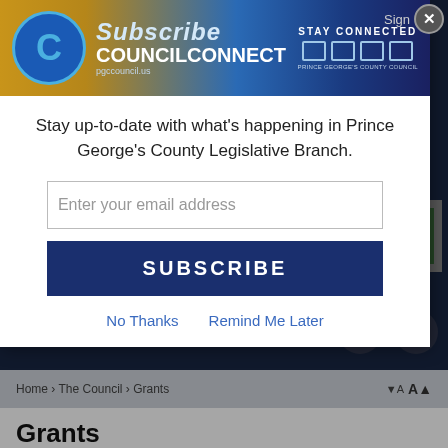[Figure (screenshot): Council Connect banner with logo, Subscribe text, Stay Connected icons, and Prince George's County branding]
Stay up-to-date with what’s happening in Prince George’s County Legislative Branch.
Enter your email address
SUBSCRIBE
No Thanks
Remind Me Later
Home › The Council › Grants
Grants